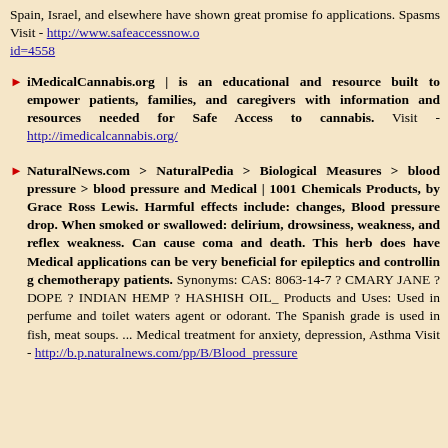Spain, Israel, and elsewhere have shown great promise for applications. Spasms Visit - http://www.safeaccessnow.o... id=4558
iMedicalCannabis.org | is an educational and resource site built to empower patients, families, and caregivers with information and resources needed for Safe Access to cannabis. Visit - http://imedicalcannabis.org/
NaturalNews.com > NaturalPedia > Biological Measures > blood pressure > blood pressure and Medical | 1001 Chemicals in Everyday Products, by Grace Ross Lewis. Harmful effects include: changes, Blood pressure drop. When smoked or swallowed: delirium, drowsiness, weakness, and reflex weakness. Can cause coma and death. This herb does have Medical applications can be very beneficial for epileptics and controlling chemotherapy patients. Synonyms: CAS: 8063-14-7 ? C... MARY JANE ? DOPE ? INDIAN HEMP ? HASHISH OIL_ Products and Uses: Used in perfume and toilet waters as agent or odorant. The Spanish grade is used in fish, meat soups. ... Medical treatment for anxiety, depression, Asthm... Visit - http://b.p.naturalnews.com/pp/B/Blood_pressure...